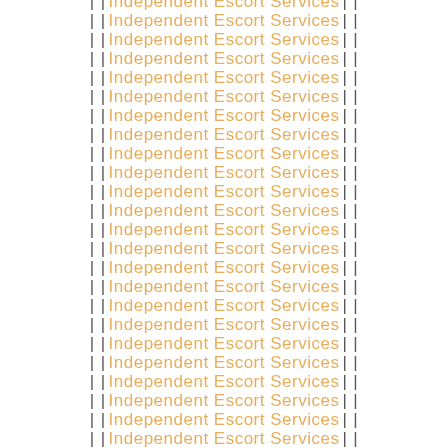[Figure (other): Repeating watermark pattern with text 'Independent Escort Services' flanked by vertical pipe characters, displayed in golden/amber color on white background, repeated approximately 24 times vertically across the page.]